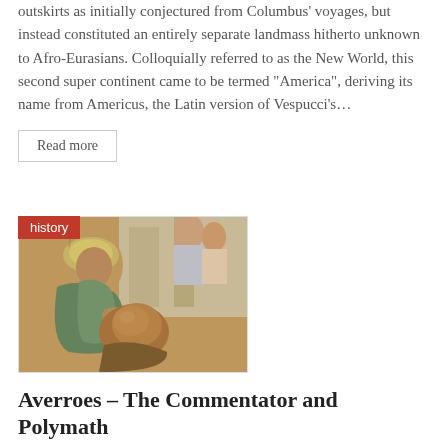outskirts as initially conjectured from Columbus' voyages, but instead constituted an entirely separate landmass hitherto unknown to Afro-Eurasians. Colloquially referred to as the New World, this second super continent came to be termed "America", deriving its name from Americus, the Latin version of Vespucci's…
Read more
[Figure (photo): A detail from a Renaissance painting showing two figures, one with a yellow halo/headpiece wearing green robes, and another bald figure below, labeled with a 'history' category tag in the upper left corner.]
Averroes – The Commentator and Polymath
10. December 2021   Tabea Tietz
On December 10, 1198, medieval Andalusian polymath Abū l-Walīd